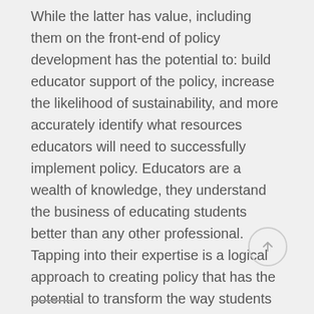While the latter has value, including them on the front-end of policy development has the potential to: build educator support of the policy, increase the likelihood of sustainability, and more accurately identify what resources educators will need to successfully implement policy. Educators are a wealth of knowledge, they understand the business of educating students better than any other professional. Tapping into their expertise is a logical approach to creating policy that has the potential to transform the way students are educated.